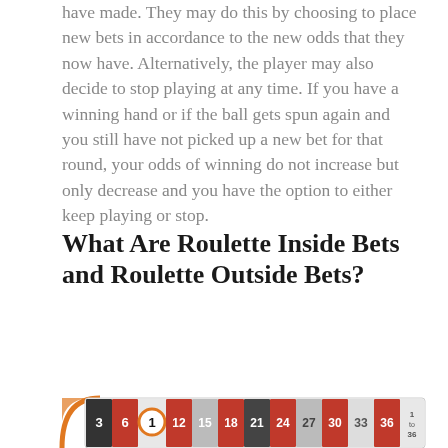have made. They may do this by choosing to place new bets in accordance to the new odds that they now have. Alternatively, the player may also decide to stop playing at any time. If you have a winning hand or if the ball gets spun again and you still have not picked up a new bet for that round, your odds of winning do not increase but only decrease and you have the option to either keep playing or stop.
What Are Roulette Inside Bets and Roulette Outside Bets?
[Figure (infographic): Inside Bets diagram showing 6 numbered circles with bet types: 1-Straight Up, 2-Split, 3-Trio, 4-Street, 5-Corner, 6-Line, with a roulette number strip at the bottom showing numbers 3,6,1,12,15,18,21,24,27,30,33,36]